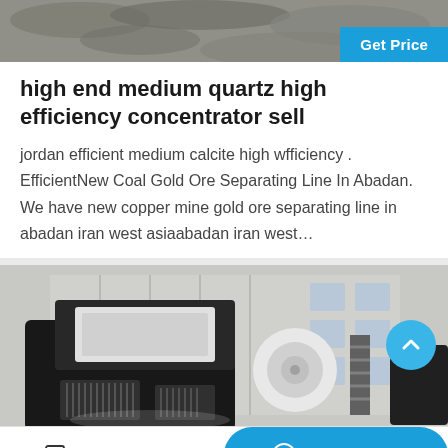[Figure (photo): Top header image of rocky/quarry material in dark tones with a blue 'Get Price' button in the upper right]
high end medium quartz high efficiency concentrator sell
jordan efficient medium calcite high wfficiency . EfficientNew Coal Gold Ore Separating Line In Abadan. We have new copper mine gold ore separating line in abadan iran west asiaabadan iran west…
[Figure (photo): Photo of a large industrial mining/crushing machine (concentrator equipment) with black housing, ventilation grilles, and a white disc component, in front of a grey industrial building]
Leave Message
Chat Online